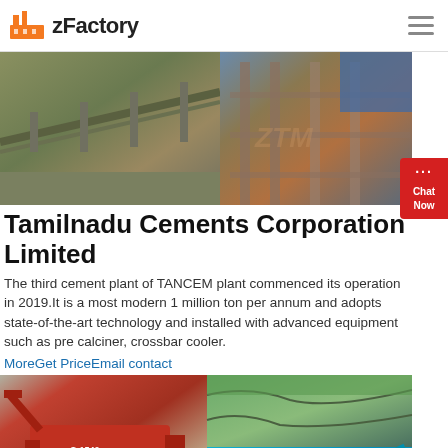zFactory
[Figure (photo): Three construction/industrial facility photos side by side: conveyor belt structure, scaffolding/construction worker, and industrial steel framework]
Tamilnadu Cements Corporation Limited
The third cement plant of TANCEM plant commenced its operation in 2019.It is a most modern 1 million ton per annum and adopts state-of-the-art technology and installed with advanced equipment such as pre calciner, crossbar cooler.
MoreGet PriceEmail contact
[Figure (photo): Two photos of mobile crushing/mining equipment: a red tracked mobile crusher on the left and a teal/cyan tracked mobile screener on the right]